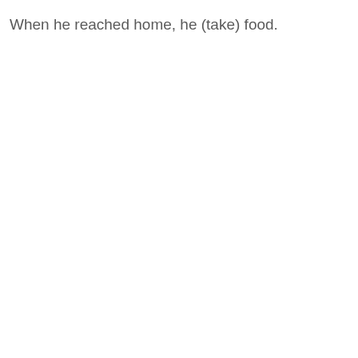When he reached home, he (take) food.